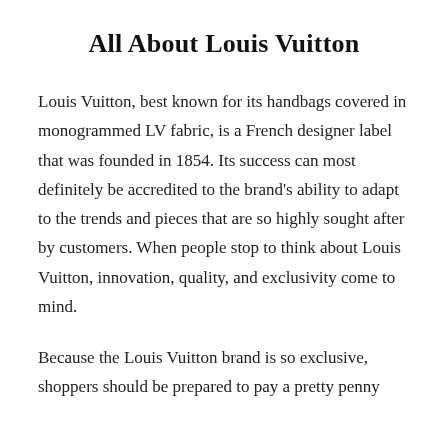All About Louis Vuitton
Louis Vuitton, best known for its handbags covered in monogrammed LV fabric, is a French designer label that was founded in 1854. Its success can most definitely be accredited to the brand’s ability to adapt to the trends and pieces that are so highly sought after by customers. When people stop to think about Louis Vuitton, innovation, quality, and exclusivity come to mind.
Because the Louis Vuitton brand is so exclusive, shoppers should be prepared to pay a pretty penny